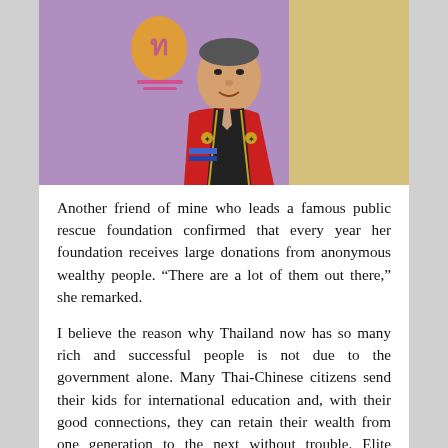[Figure (photo): An elderly Asian man wearing a red academic robe with black and gold sash/stole, seated or standing in front of a purple background with a Thai emblem/logo in gold. He is smiling and wearing a patterned tie.]
Another friend of mine who leads a famous public rescue foundation confirmed that every year her foundation receives large donations from anonymous wealthy people. “There are a lot of them out there,” she remarked.
I believe the reason why Thailand now has so many rich and successful people is not due to the government alone. Many Thai-Chinese citizens send their kids for international education and, with their good connections, they can retain their wealth from one generation to the next without trouble. Elite universities like Chulalongkorn are fully funded by donations, they can afford to